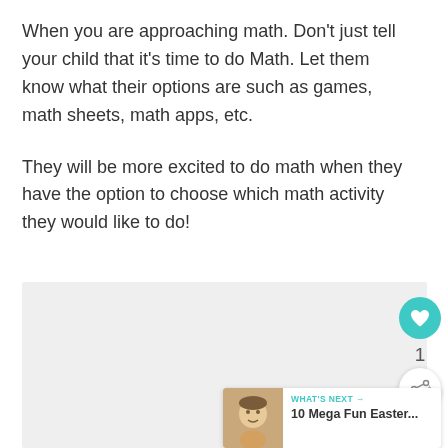When you are approaching math. Don’t just tell your child that it’s time to do Math. Let them know what their options are such as games, math sheets, math apps, etc.
They will be more excited to do math when they have the option to choose which math activity they would like to do!
[Figure (screenshot): Gray placeholder box with floating like button (teal heart icon), share button, count '1', and a 'What's Next' teaser card showing '10 Mega Fun Easter...' with a small photo of a child.]